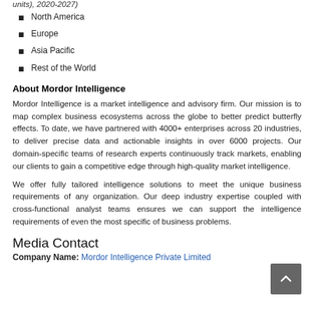units), 2020-2027)
North America
Europe
Asia Pacific
Rest of the World
About Mordor Intelligence
Mordor Intelligence is a market intelligence and advisory firm. Our mission is to map complex business ecosystems across the globe to better predict butterfly effects. To date, we have partnered with 4000+ enterprises across 20 industries, to deliver precise data and actionable insights in over 6000 projects. Our domain-specific teams of research experts continuously track markets, enabling our clients to gain a competitive edge through high-quality market intelligence.
We offer fully tailored intelligence solutions to meet the unique business requirements of any organization. Our deep industry expertise coupled with cross-functional analyst teams ensures we can support the intelligence requirements of even the most specific of business problems.
Media Contact
Company Name: Mordor Intelligence Private Limited